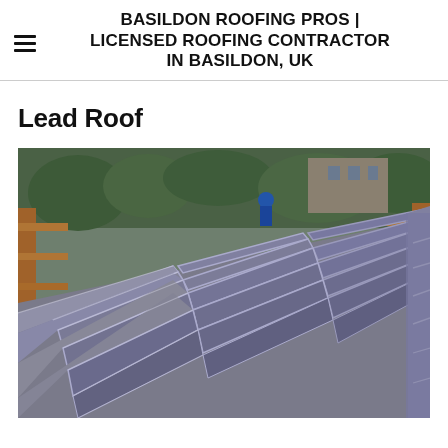BASILDON ROOFING PROS | LICENSED ROOFING CONTRACTOR IN BASILDON, UK
Lead Roof
[Figure (photo): Aerial/overhead view of a flat lead roof with rectangular lead panels and raised seams, surrounded by scaffolding timber and trees in background, photographed from above.]